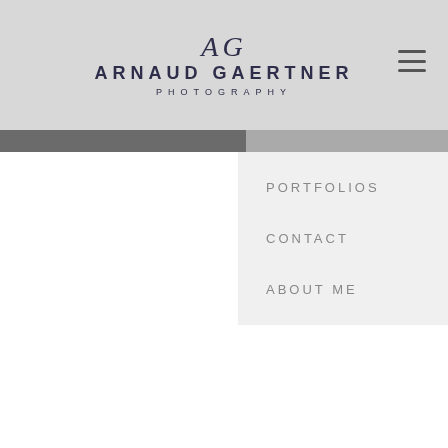AG ARNAUD GAERTNER PHOTOGRAPHY
PORTFOLIOS
CONTACT
ABOUT ME